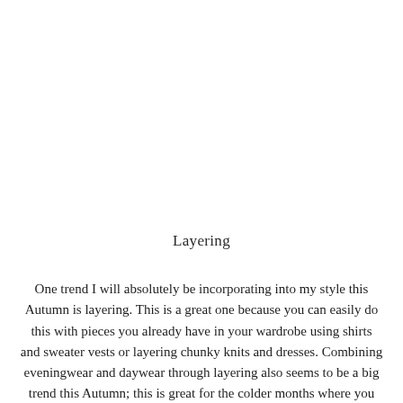Layering
One trend I will absolutely be incorporating into my style this Autumn is layering. This is a great one because you can easily do this with pieces you already have in your wardrobe using shirts and sweater vests or layering chunky knits and dresses. Combining eveningwear and daywear through layering also seems to be a big trend this Autumn; this is great for the colder months where you still want to look chic! For this look, I'll be